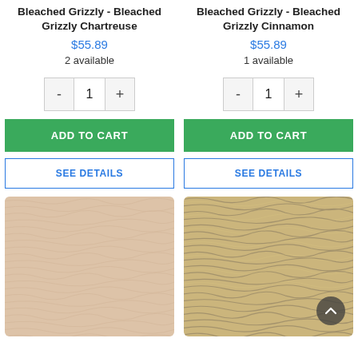Bleached Grizzly - Bleached Grizzly Chartreuse
$55.89
2 available
ADD TO CART
SEE DETAILS
[Figure (photo): Close-up photo of bleached grizzly chartreuse feather material showing pale pinkish-tan fibrous texture]
Bleached Grizzly - Bleached Grizzly Cinnamon
$55.89
1 available
ADD TO CART
SEE DETAILS
[Figure (photo): Close-up photo of bleached grizzly cinnamon feather material showing golden-brown and dark barred fiber texture]